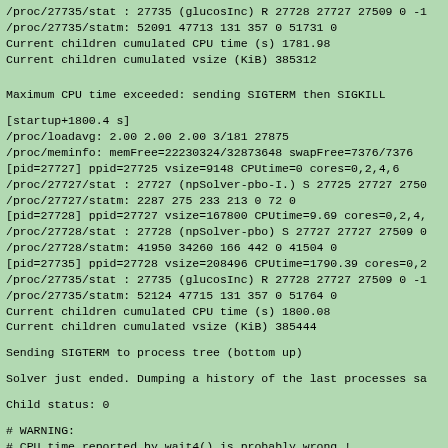/proc/27735/stat : 27735 (glucosInc) R 27728 27727 27509 0 -1
/proc/27735/statm: 52091 47713 131 357 0 51731 0
Current children cumulated CPU time (s) 1781.98
Current children cumulated vsize (KiB) 385312
Maximum CPU time exceeded: sending SIGTERM then SIGKILL
[startup+1800.4 s]
/proc/loadavg: 2.00 2.00 2.00 3/181 27875
/proc/meminfo: memFree=22230324/32873648 swapFree=7376/7376
[pid=27727] ppid=27725 vsize=9148 CPUtime=0 cores=0,2,4,6
/proc/27727/stat : 27727 (npSolver-pbo-I.) S 27725 27727 2750
/proc/27727/statm: 2287 275 233 213 0 72 0
[pid=27728] ppid=27727 vsize=167800 CPUtime=9.69 cores=0,2,4,
/proc/27728/stat : 27728 (npSolver-pbo) S 27727 27727 27509 0
/proc/27728/statm: 41950 34260 166 442 0 41504 0
[pid=27735] ppid=27728 vsize=208496 CPUtime=1790.39 cores=0,2
/proc/27735/stat : 27735 (glucosInc) R 27728 27727 27509 0 -1
/proc/27735/statm: 52124 47715 131 357 0 51764 0
Current children cumulated CPU time (s) 1800.08
Current children cumulated vsize (KiB) 385444
Sending SIGTERM to process tree (bottom up)
Solver just ended. Dumping a history of the last processes sa
Child status: 0
# WARNING:
# CPU time reported by wait4() is probably wrong !
# wait4(... &childrusage) returns 27727 and gives